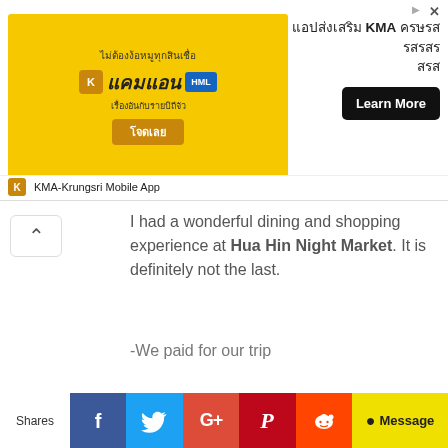[Figure (screenshot): KMA-Krungsri Mobile App advertisement banner with Thai text and Learn More button]
I had a wonderful dining and shopping experience at Hua Hin Night Market. It is definitely not the last.
-We paid for our trip
Share this post with your friends and loved ones.
How to go Hua Hin Night Market
[Figure (screenshot): Google Maps embed showing location]
Shares | Facebook | Twitter | Google+ | Pinterest | Reddit | Message